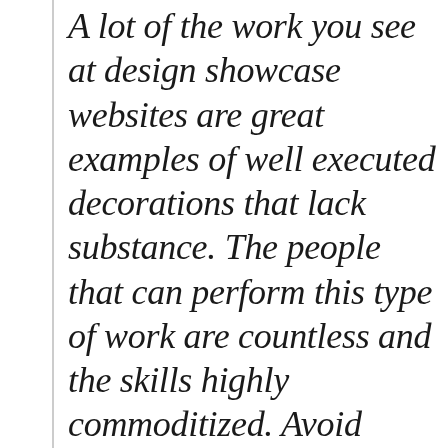A lot of the work you see at design showcase websites are great examples of well executed decorations that lack substance. The people that can perform this type of work are countless and the skills highly commoditized. Avoid pixel-pushing at all costs – your job is to solve problems. View your work